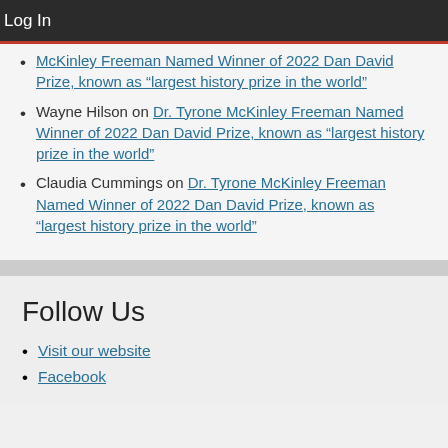Log In
McKinley Freeman Named Winner of 2022 Dan David Prize, known as “largest history prize in the world”
Wayne Hilson on Dr. Tyrone McKinley Freeman Named Winner of 2022 Dan David Prize, known as “largest history prize in the world”
Claudia Cummings on Dr. Tyrone McKinley Freeman Named Winner of 2022 Dan David Prize, known as “largest history prize in the world”
Follow Us
Visit our website
Facebook